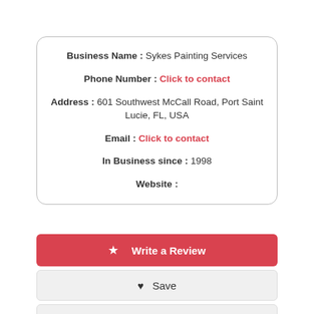Business Name : Sykes Painting Services
Phone Number : Click to contact
Address : 601 Southwest McCall Road, Port Saint Lucie, FL, USA
Email : Click to contact
In Business since : 1998
Website :
★ Write a Review
♥ Save
Share